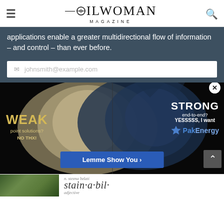OILWOMAN MAGAZINE
applications enable a greater multidirectional flow of information – and control – than ever before.
johnsmith@example.com
[Figure (photo): Advertisement showing split image of a white animal and a blue wolf with text: WEAK point solutions? NO THX! / STRONG end-to-end? YESSSSS, I want / PakEnergy. Button: Lemme Show You >]
[Figure (photo): Bottom strip showing a green plant image on the left and text beginning with 'stain-a-bil-' on the right with 'adjective' label]